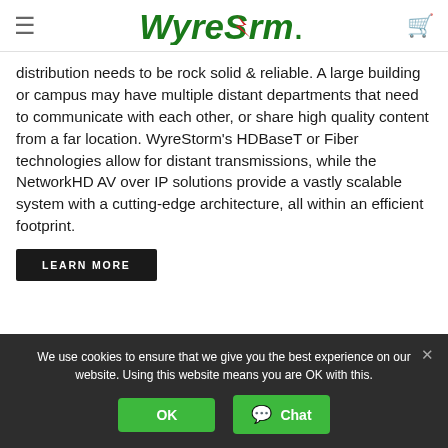WyreStorm
distribution needs to be rock solid & reliable. A large building or campus may have multiple distant departments that need to communicate with each other, or share high quality content from a far location. WyreStorm's HDBaseT or Fiber technologies allow for distant transmissions, while the NetworkHD AV over IP solutions provide a vastly scalable system with a cutting-edge architecture, all within an efficient footprint.
LEARN MORE
We use cookies to ensure that we give you the best experience on our website. Using this website means you are OK with this.